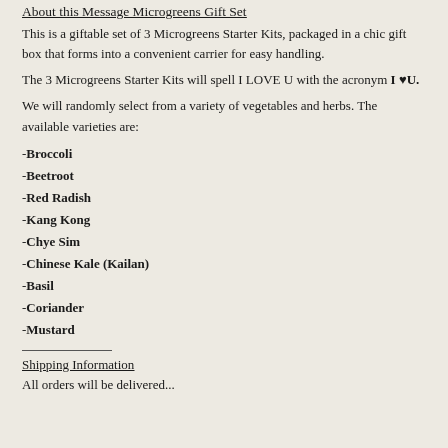About this Message Microgreens Gift Set
This is a giftable set of 3 Microgreens Starter Kits, packaged in a chic gift box that forms into a convenient carrier for easy handling.
The 3 Microgreens Starter Kits will spell I LOVE U with the acronym I ♥U.
We will randomly select from a variety of vegetables and herbs. The available varieties are:
-Broccoli
-Beetroot
-Red Radish
-Kang Kong
-Chye Sim
-Chinese Kale (Kailan)
-Basil
-Coriander
-Mustard
Shipping Information
All orders will be delivered...